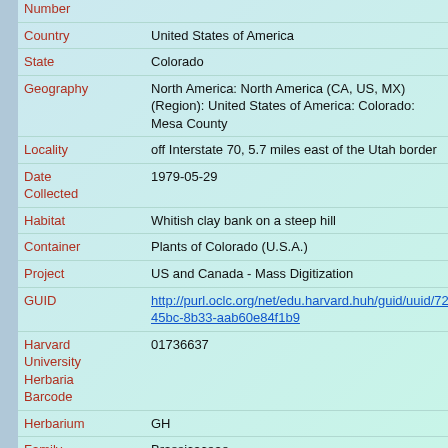| Field | Value |
| --- | --- |
| Number |  |
| Country | United States of America |
| State | Colorado |
| Geography | North America: North America (CA, US, MX) (Region): United States of America: Colorado: Mesa County |
| Locality | off Interstate 70, 5.7 miles east of the Utah border |
| Date Collected | 1979-05-29 |
| Habitat | Whitish clay bank on a steep hill |
| Container | Plants of Colorado (U.S.A.) |
| Project | US and Canada - Mass Digitization |
| GUID | http://purl.oclc.org/net/edu.harvard.huh/guid/uuid/72e15ad-45bc-8b33-aab60e84f1b9 |
| Harvard University Herbaria Barcode | 01736637 |
| Herbarium | GH |
| Family | Brassicaceae |
| Determination | Thelypodiopsis elegans (Jones) Rydberg |
| Determination Remarks | [is filed under name] [is Current name] |